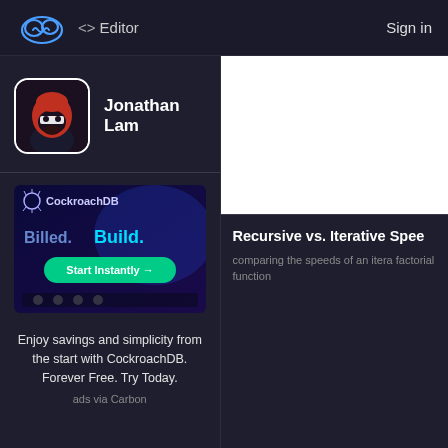⟨⟩ Editor   Sign in
[Figure (screenshot): User profile avatar: ninja character with red hood on dark background]
Jonathan Lam
[Figure (screenshot): CockroachDB advertisement banner: 'Billed. Build. Start Instantly' button with purple/blue background]
Enjoy savings and simplicity from the start with CockroachDB. Forever Free. Try Today.
ads via Carbon
[Figure (screenshot): White preview card area (partially visible)]
Recursive vs. Iterative Spee
comparing the speeds of an itera factorial function